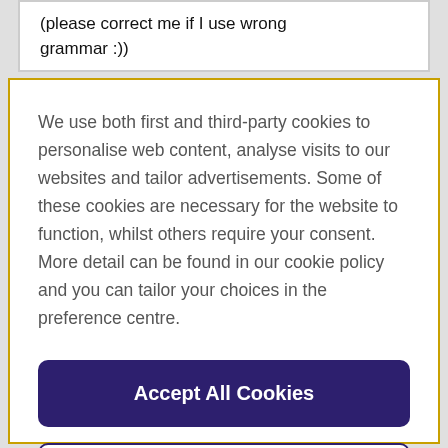(please correct me if I use wrong grammar :))
We use both first and third-party cookies to personalise web content, analyse visits to our websites and tailor advertisements. Some of these cookies are necessary for the website to function, whilst others require your consent. More detail can be found in our cookie policy and you can tailor your choices in the preference centre.
Accept All Cookies
Cookies Settings